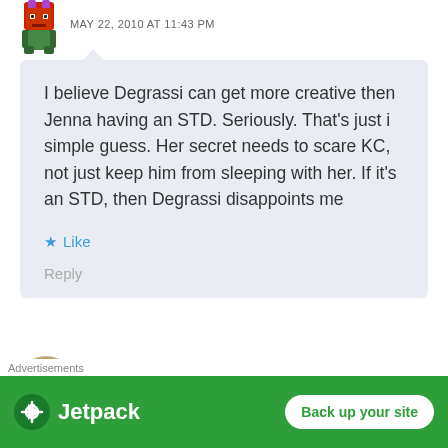MAY 22, 2010 AT 11:43 PM
I believe Degrassi can get more creative then Jenna having an STD. Seriously. That's just i simple guess. Her secret needs to scare KC, not just keep him from sleeping with her. If it's an STD, then Degrassi disappoints me
Like
Reply
astrig
[Figure (logo): Jetpack advertisement banner with green background, Jetpack logo and 'Back up your site' button]